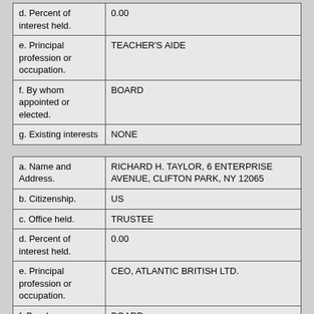| d. Percent of interest held. | 0.00 |
| e. Principal profession or occupation. | TEACHER'S AIDE |
| f. By whom appointed or elected. | BOARD |
| g. Existing interests | NONE |
| a. Name and Address. | RICHARD H. TAYLOR, 6 ENTERPRISE AVENUE, CLIFTON PARK, NY 12065 |
| b. Citizenship. | US |
| c. Office held. | TRUSTEE |
| d. Percent of interest held. | 0.00 |
| e. Principal profession or occupation. | CEO, ATLANTIC BRITISH LTD. |
| f. By whom appointed or elected. | BOARD |